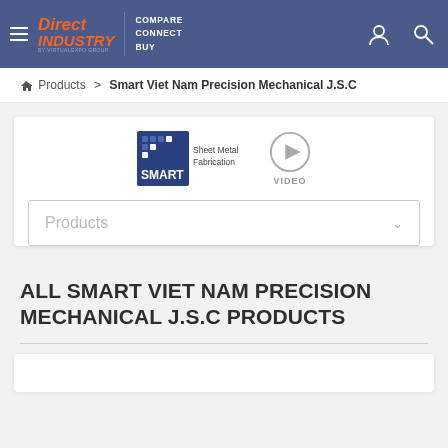Direct Industry — Compare Connect Buy
Products > Smart Viet Nam Precision Mechanical J.S.C
[Figure (logo): Smart Sheet Metal Fabrication company logo with VIDEO button]
Products
ALL SMART VIET NAM PRECISION MECHANICAL J.S.C PRODUCTS